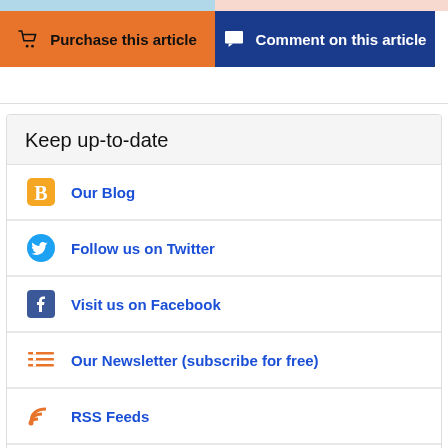Purchase this article
Comment on this article
Keep up-to-date
Our Blog
Follow us on Twitter
Visit us on Facebook
Our Newsletter (subscribe for free)
RSS Feeds
New issue alerts